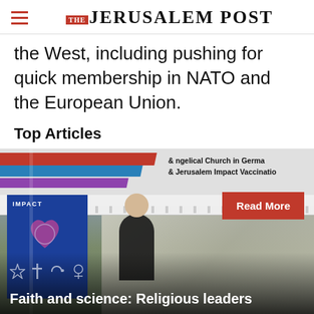THE JERUSALEM POST
the West, including pushing for quick membership in NATO and the European Union.
Top Articles
[Figure (photo): Photo of a vaccination tent event with banners reading 'Evangelical Church in Germany & Jerusalem Impact Vaccination'. A person in black with a white beard is visible. A red 'Read More' button overlays the image. Religious symbols (Star of David, cross, crescent) appear at bottom left. Headline overlay reads 'Faith and science: Religious leaders'.]
Faith and science: Religious leaders
Advertisement